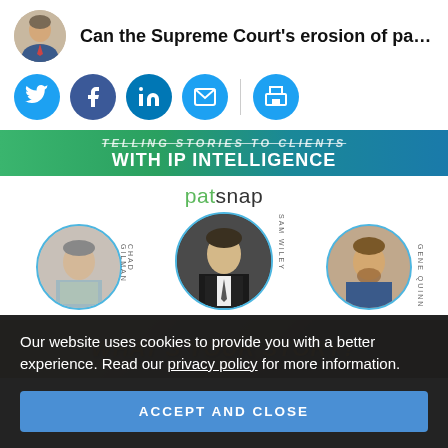Can the Supreme Court's erosion of pa...
[Figure (infographic): Social media share icons: Twitter, Facebook, LinkedIn, Email, Print]
[Figure (infographic): Patsnap advertisement banner: 'TELLING STORIES TO CLIENTS WITH IP INTELLIGENCE' featuring Chad Gilman, Sam Wiley, and Gene Quinn with circular portrait photos]
[Figure (infographic): What's Your Story? banner image with warm brown background]
Our website uses cookies to provide you with a better experience. Read our privacy policy for more information.
ACCEPT AND CLOSE
[Figure (infographic): IPWatchdog Live 2022 footer banner]